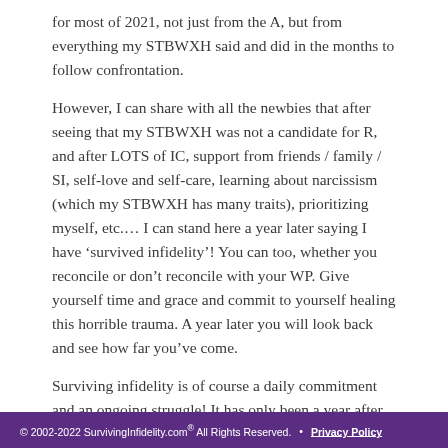for most of 2021, not just from the A, but from everything my STBWXH said and did in the months to follow confrontation.
However, I can share with all the newbies that after seeing that my STBWXH was not a candidate for R, and after LOTS of IC, support from friends / family / SI, self-love and self-care, learning about narcissism (which my STBWXH has many traits), prioritizing myself, etc.... I can stand here a year later saying I have 'survived infidelity'! You can too, whether you reconcile or don't reconcile with your WP. Give yourself time and grace and commit to yourself healing this horrible trauma. A year later you will look back and see how far you've come.
Surviving infidelity is of course a daily commitment and an ongoing struggle! It has only been a year after
© 2002-2022 SurvivingInfidelity.com® All Rights Reserved. • Privacy Policy